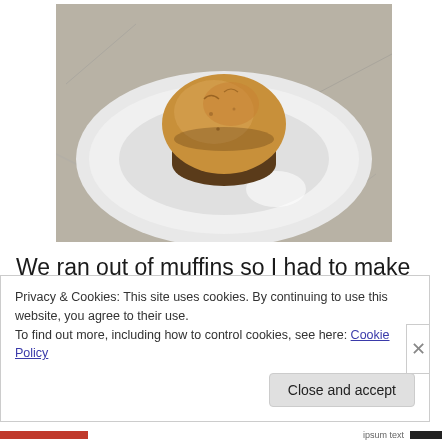[Figure (photo): A single muffin on a white round plate, placed on a granite countertop. The muffin appears golden-brown, likely pumpkin flavored.]
We ran out of muffins so I had to make some more yesterday. Since I still had some pumpkin left from the
Privacy & Cookies: This site uses cookies. By continuing to use this website, you agree to their use.
To find out more, including how to control cookies, see here: Cookie Policy
Close and accept